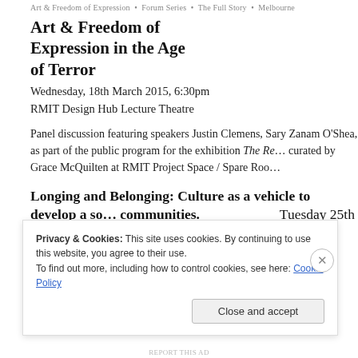Art & Freedom of Expression • Forum Series • The Full Story • Melbourne
Art & Freedom of Expression in the Age of Terror
Wednesday, 18th March 2015, 6:30pm
RMIT Design Hub Lecture Theatre
Panel discussion featuring speakers Justin Clemens, Sary Zanam O'Shea, as part of the public program for the exhibition The Re… curated by Grace McQuilten at RMIT Project Space / Spare Roo…
Longing and Belonging: Culture as a vehicle to develop a so… communities.
Tuesday 25th November
Privacy & Cookies: This site uses cookies. By continuing to use this website, you agree to their use.
To find out more, including how to control cookies, see here: Cookie Policy
Close and accept